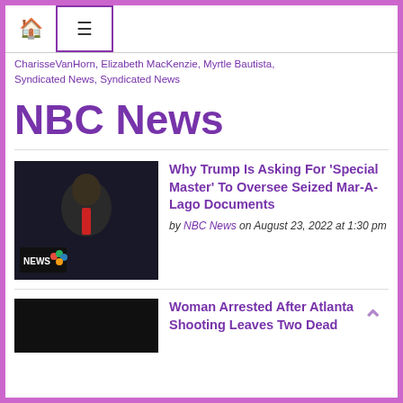Home | Menu
CharisseVanHorn, Elizabeth MacKenzie, Myrtle Bautista, Syndicated News, Syndicated News
NBC News
[Figure (photo): Photo of Donald Trump at a rally with NBC News lower-third graphic visible]
Why Trump Is Asking For 'Special Master' To Oversee Seized Mar-A-Lago Documents
by NBC News on August 23, 2022 at 1:30 pm
[Figure (photo): Dark photo, partial thumbnail of second article]
Woman Arrested After Atlanta Shooting Leaves Two Dead